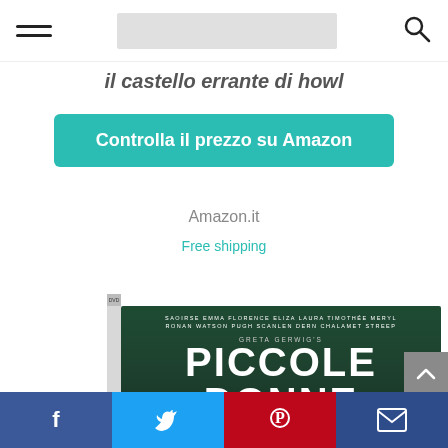[Figure (screenshot): Website navigation bar with hamburger menu, logo placeholder, and search icon]
il castello errante di howl
Controlla il prezzo su Amazon
Amazon.it
Free shipping
[Figure (photo): DVD cover of 'Piccole Donne' (Little Women) directed by Greta Gerwig featuring Saoirse Ronan, Emma Watson, Florence Pugh, Eliza Scanlen, Laura Dern, Timothée Chalamet, Meryl Streep. Tagline: Scegli la tua storia.]
[Figure (infographic): Social media share bar with Facebook, Twitter, Pinterest, and Email buttons]